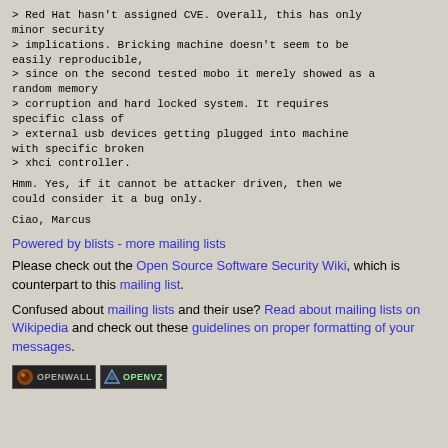> Red Hat hasn't assigned CVE. Overall, this has only minor security
> implications. Bricking machine doesn't seem to be easily reproducible,
> since on the second tested mobo it merely showed as a random memory
> corruption and hard locked system. It requires specific class of
> external usb devices getting plugged into machine with specific broken
> xhci controller.
Hmm. Yes, if it cannot be attacker driven, then we could consider it a bug only.
Ciao, Marcus
Powered by blists - more mailing lists
Please check out the Open Source Software Security Wiki, which is counterpart to this mailing list.
Confused about mailing lists and their use? Read about mailing lists on Wikipedia and check out these guidelines on proper formatting of your messages.
[Figure (logo): Openwall and OpenVZ badge logos]